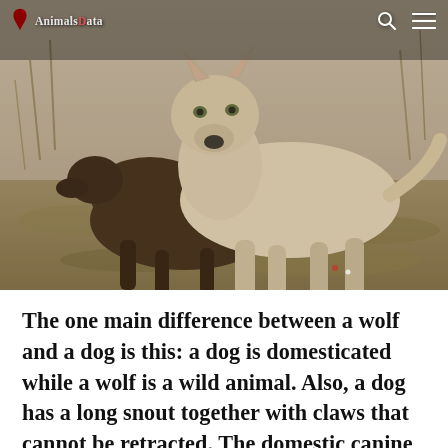AnimalsData
[Figure (photo): Two wolves or wolf-dog canines running or standing on dry grass/ground. One appears white/grey, the other dark brown/black. The image has a warm, slightly faded tonal quality.]
The one main difference between a wolf and a dog is this: a dog is domesticated while a wolf is a wild animal. Also, a dog has a long snout together with claws that cannot be retracted. The domestic canine